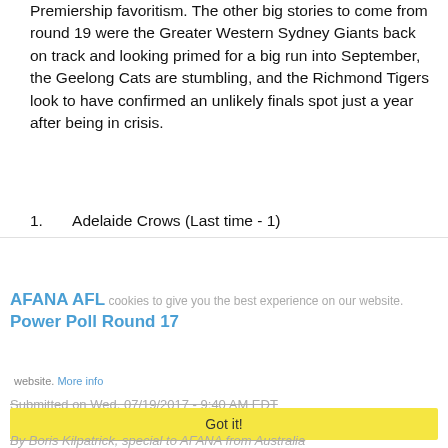Premiership favoritism. The other big stories to come from round 19 were the Greater Western Sydney Giants back on track and looking primed for a big run into September, the Geelong Cats are stumbling, and the Richmond Tigers look to have confirmed an unlikely finals spot just a year after being in crisis.
1.   Adelaide Crows (Last time - 1)
The Crows have established themselves as clear premiership favorites after demolishing fellow finals aspirants and crosstown foes the Port Power by 84 points at Adelaide Oval on Sunday afternoon.
2.   Greater Western Sydney Giants (3)
Read more »
AFANA AFL Power Poll Round 17
Submitted on Wed, 07/19/2017 - 9:40 AM EDT
By Boris Kilpatrick, special to AFANA from Australia